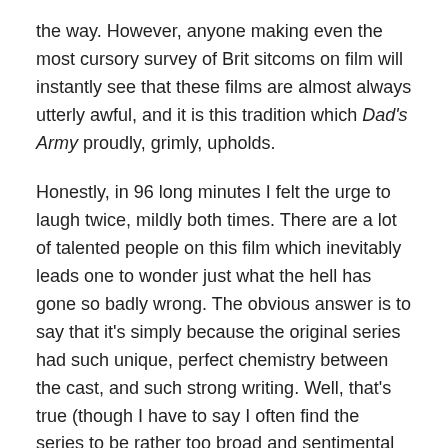the way. However, anyone making even the most cursory survey of Brit sitcoms on film will instantly see that these films are almost always utterly awful, and it is this tradition which Dad's Army proudly, grimly, upholds.
Honestly, in 96 long minutes I felt the urge to laugh twice, mildly both times. There are a lot of talented people on this film which inevitably leads one to wonder just what the hell has gone so badly wrong. The obvious answer is to say that it's simply because the original series had such unique, perfect chemistry between the cast, and such strong writing. Well, that's true (though I have to say I often find the series to be rather too broad and sentimental for my tastes), but it's not just the case that this movie is trying to copy the TV show and failing. This movie is a rather different beast.